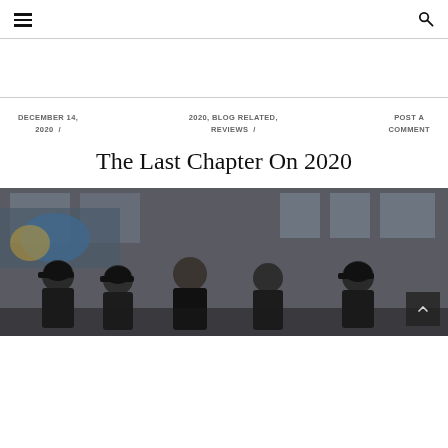☰  🔍
DECEMBER 14, 2020  /  2020, BLOG RELATED, REVIEWS  /  POST A COMMENT
The Last Chapter On 2020
[Figure (photo): Band photo of five men standing outdoors in front of a brick building with graffiti and windows, looking at camera with serious expressions]